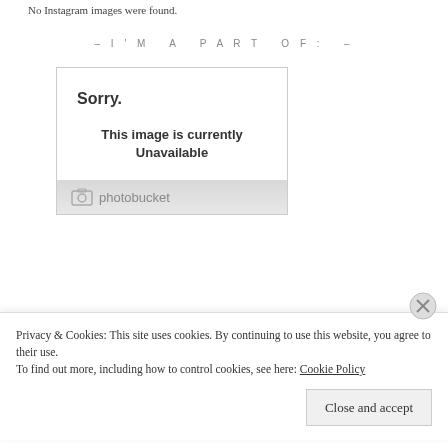No Instagram images were found.
– I'M A PART OF: –
[Figure (screenshot): Photobucket image placeholder box showing 'Sorry.' and 'This image is currently Unavailable' with Photobucket logo at the bottom]
Privacy & Cookies: This site uses cookies. By continuing to use this website, you agree to their use.
To find out more, including how to control cookies, see here: Cookie Policy
Close and accept